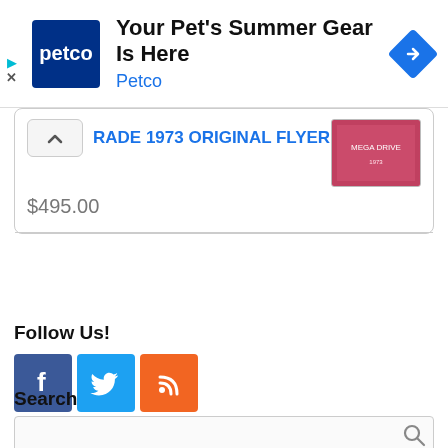[Figure (screenshot): Petco advertisement banner with logo, text 'Your Pet's Summer Gear Is Here', 'Petco', and navigation arrow icon]
RADE 1973 ORIGINAL FLYER
$495.00
Follow Us!
[Figure (logo): Social media icons: Facebook (blue), Twitter (light blue), RSS (orange)]
Search